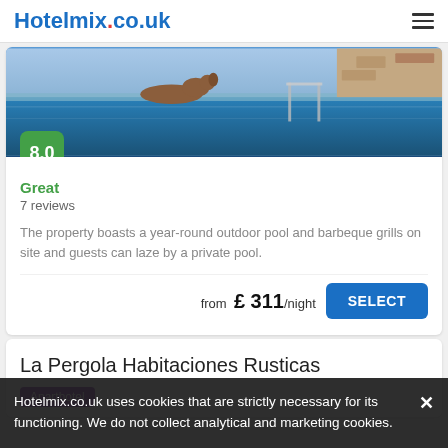Hotelmix.co.uk
[Figure (photo): Outdoor swimming pool with blue water, stone surround, and a dog resting at the edge]
8.0
Great
7 reviews
The property boasts a year-round outdoor pool and barbeque grills on site and guests can laze by a private pool.
from £ 311 /night
SELECT
La Pergola Habitaciones Rusticas
Aparthotel
Hotelmix.co.uk uses cookies that are strictly necessary for its functioning. We do not collect analytical and marketing cookies.